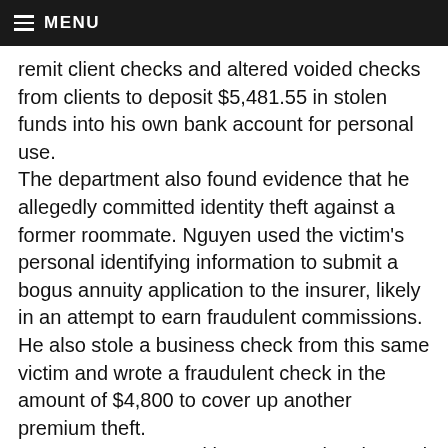≡ MENU
remit client checks and altered voided checks from clients to deposit $5,481.55 in stolen funds into his own bank account for personal use. The department also found evidence that he allegedly committed identity theft against a former roommate. Nguyen used the victim's personal identifying information to submit a bogus annuity application to the insurer, likely in an attempt to earn fraudulent commissions. He also stole a business check from this same victim and wrote a fraudulent check in the amount of $4,800 to cover up another premium theft. Nguyen was arrested by U.S. Immigration and Customs Enforcement's (ICE) Homeland Security Investigations (HSI) while crossing the U.S.-Mexico border. He was booked into the San Diego Central Jail and then transferred to the Orange County Men's Jail in Santa Ana. Bail is set at $100,000.